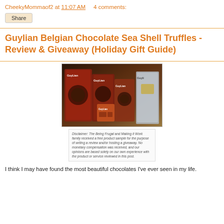CheekyMommaof2 at 11:07 AM    4 comments:
Share
Guylian Belgian Chocolate Sea Shell Truffles - Review & Giveaway (Holiday Gift Guide)
[Figure (photo): Multiple Guylian Belgian chocolate product boxes arranged on a countertop]
Disclaimer: The Being Frugal and Making it Work family received a free product sample for the purpose of writing a review and/or hosting a giveaway. No monetary compensation was received, and our opinions are based solely on our own experience with the product or service reviewed in this post.
I think I may have found the most beautiful chocolates I've ever seen in my life.